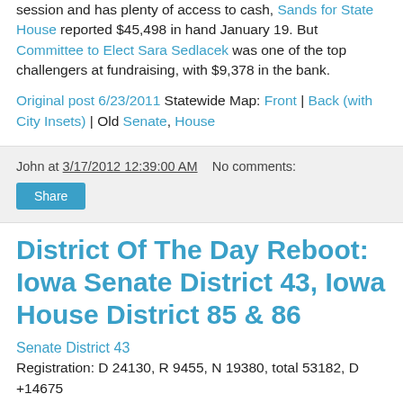session and has plenty of access to cash, Sands for State House reported $45,498 in hand January 19. But Committee to Elect Sara Sedlacek was one of the top challengers at fundraising, with $9,378 in the bank.
Original post 6/23/2011 Statewide Map: Front | Back (with City Insets) | Old Senate, House
John at 3/17/2012 12:39:00 AM   No comments:
Share
District Of The Day Reboot: Iowa Senate District 43, Iowa House District 85 & 86
Senate District 43
Registration: D 24130, R 9455, N 19380, total 53182, D +14675
Incumbent: Joe Bolkcom, D-Iowa City; holdover seat